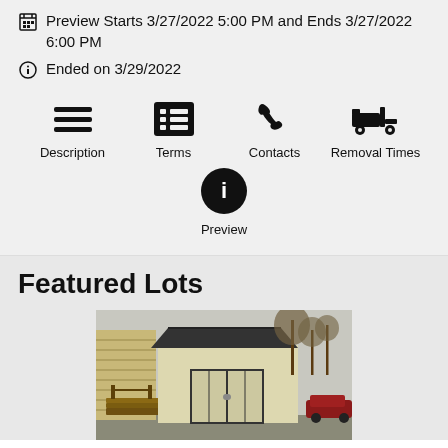Preview Starts 3/27/2022 5:00 PM and Ends 3/27/2022 6:00 PM
Ended on 3/29/2022
[Figure (infographic): Navigation icons row: Description (lines icon), Terms (list icon), Contacts (phone icon), Removal Times (forklift icon), and Preview (info circle icon)]
Featured Lots
[Figure (photo): Photo of a beige/tan storage shed with double doors, a wood deck/stairs visible on the left, trees in the background, and a red vehicle visible on the right.]